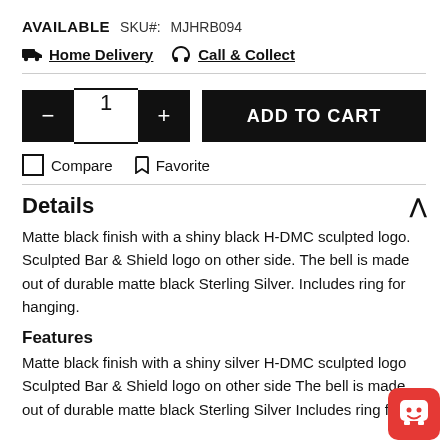AVAILABLE   SKU#: MJHRB094
🚚 Home Delivery  🎧 Call & Collect
1  ADD TO CART
☐ Compare  🔖 Favorite
Details
Matte black finish with a shiny black H-DMC sculpted logo. Sculpted Bar & Shield logo on other side. The bell is made out of durable matte black Sterling Silver. Includes ring for hanging.
Features
Matte black finish with a shiny silver H-DMC sculpted logo Sculpted Bar & Shield logo on other side The bell is made out of durable matte black Sterling Silver Includes ring for h